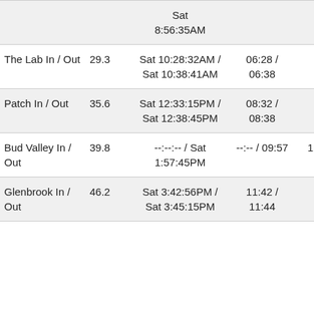|  |  | Sat
8:56:35AM |  |  |
| The Lab In / Out | 29.3 | Sat 10:28:32AM / Sat 10:38:41AM | 06:28 / 06:38 | 1h31m / 10m |
| Patch In / Out | 35.6 | Sat 12:33:15PM / Sat 12:38:45PM | 08:32 / 08:38 | 1h54m / 5m |
| Bud Valley In / Out | 39.8 | --:--:-- / Sat 1:57:45PM | --:-- / 09:57 | 1h19m / --:- |
| Glenbrook In / Out | 46.2 | Sat 3:42:56PM / Sat 3:45:15PM | 11:42 / 11:44 | 1h45m / 2m |